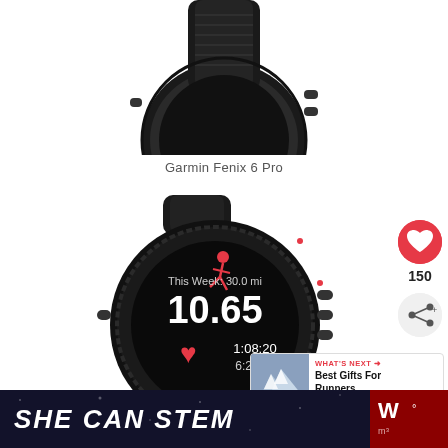[Figure (photo): Top portion of a black Garmin smartwatch (Garmin Fenix 6 Pro) on white background, showing the top half with crown buttons and strap]
Garmin Fenix 6 Pro
[Figure (photo): Black Garmin GPS running watch displaying running stats: This Week: 30.0 mi, 10.65, 1:08:20, 6:25/mi with a running figure icon in red]
[Figure (photo): What's Next panel showing a snowy mountain scene thumbnail with text Best Gifts For Runners...]
150
[Figure (infographic): Bottom dark banner with text SHE CAN STEM in bold white italic letters and a red logo section on the right]